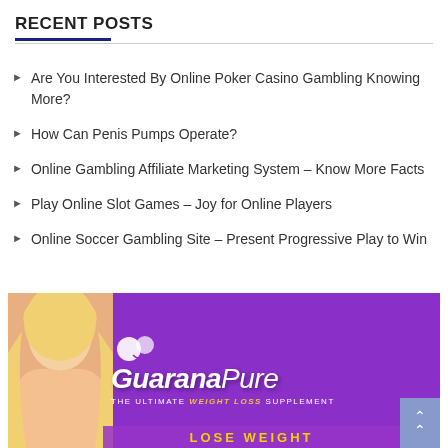RECENT POSTS
Are You Interested By Online Poker Casino Gambling Knowing More?
How Can Penis Pumps Operate?
Online Gambling Affiliate Marketing System – Know More Facts
Play Online Slot Games – Joy for Online Players
Online Soccer Gambling Site – Present Progressive Play to Win
[Figure (photo): Advertisement banner for GuaranaPure weight loss supplement featuring a blonde woman and purple background with the text 'GuaranaPure - The Ultimate Weight Loss Supplement']